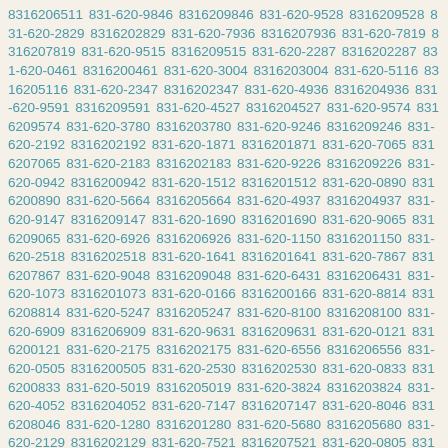8316206511 831-620-9846 8316209846 831-620-9528 8316209528 831-620-2829 8316202829 831-620-7936 8316207936 831-620-7819 8316207819 831-620-9515 8316209515 831-620-2287 8316202287 831-620-0461 8316200461 831-620-3004 8316203004 831-620-5116 8316205116 831-620-2347 8316202347 831-620-4936 8316204936 831-620-9591 8316209591 831-620-4527 8316204527 831-620-9574 8316209574 831-620-3780 8316203780 831-620-9246 8316209246 831-620-2192 8316202192 831-620-1871 8316201871 831-620-7065 8316207065 831-620-2183 8316202183 831-620-9226 8316209226 831-620-0942 8316200942 831-620-1512 8316201512 831-620-0890 8316200890 831-620-5664 8316205664 831-620-4937 8316204937 831-620-9147 8316209147 831-620-1690 8316201690 831-620-9065 8316209065 831-620-6926 8316206926 831-620-1150 8316201150 831-620-2518 8316202518 831-620-1641 8316201641 831-620-7867 8316207867 831-620-9048 8316209048 831-620-6431 8316206431 831-620-1073 8316201073 831-620-0166 8316200166 831-620-8814 8316208814 831-620-5247 8316205247 831-620-8100 8316208100 831-620-6909 8316206909 831-620-9631 8316209631 831-620-0121 8316200121 831-620-2175 8316202175 831-620-6556 8316206556 831-620-0505 8316200505 831-620-2530 8316202530 831-620-0833 8316200833 831-620-5019 8316205019 831-620-3824 8316203824 831-620-4052 8316204052 831-620-7147 8316207147 831-620-8046 8316208046 831-620-1280 8316201280 831-620-5680 8316205680 831-620-2129 8316202129 831-620-7521 8316207521 831-620-0805 8316200805 831-620-4750 8316204750 831-620-0062 8316200062 831-620-8678 8316208678 831-620-9415 8316209415 831-620-6131